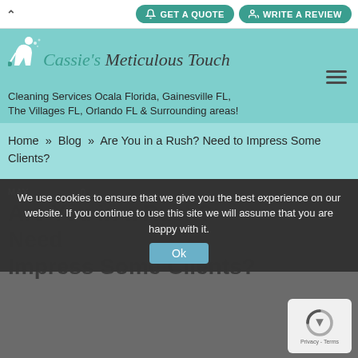^ GET A QUOTE   WRITE A REVIEW
[Figure (logo): Cassie's Meticulous Touch logo with stylized cleaning lady illustration. Logo text reads: Cassie's Meticulous Touch]
Cleaning Services Ocala Florida, Gainesville FL, The Villages FL, Orlando FL & Surrounding areas!
Home » Blog » Are You in a Rush? Need to Impress Some Clients?
MAY ... 0
Are You in a Rush? Need Impress Some Clients?
We use cookies to ensure that we give you the best experience on our website. If you continue to use this site we will assume that you are happy with it.
Ok